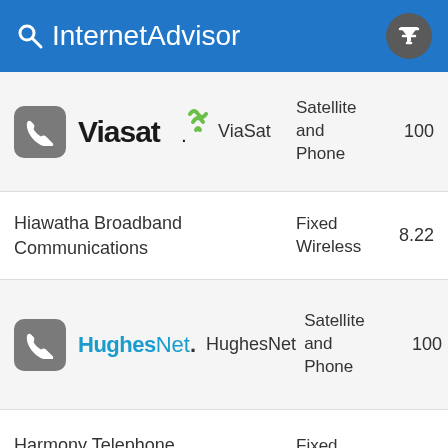InternetAdvisor
|  | Logo | Provider | Type | Speed |
| --- | --- | --- | --- | --- |
| phone-icon | Viasat logo | ViaSat | Satellite and Phone | 100 |
|  |  | Hiawatha Broadband Communications | Fixed Wireless | 8.22 |
| phone-icon | HughesNet logo | HughesNet | Satellite and Phone | 100 |
|  |  | Harmony Telephone Company | Fixed Wireless | 33.9 |
|  |  | Ace Telephone Association | DSL | 100 |